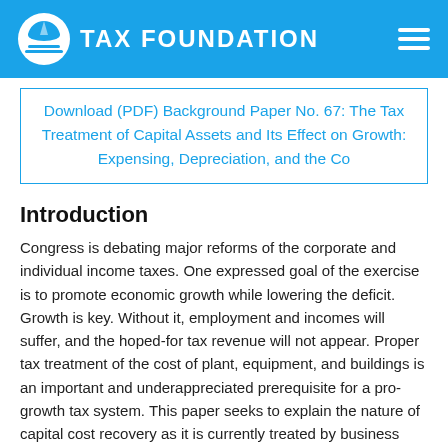TAX FOUNDATION
Download (PDF) Background Paper No. 67: The Tax Treatment of Capital Assets and Its Effect on Growth: Expensing, Depreciation, and the Co
Introduction
Congress is debating major reforms of the corporate and individual income taxes. One expressed goal of the exercise is to promote economic growth while lowering the deficit. Growth is key. Without it, employment and incomes will suffer, and the hoped-for tax revenue will not appear. Proper tax treatment of the cost of plant, equipment, and buildings is an important and underappreciated prerequisite for a pro-growth tax system. This paper seeks to explain the nature of capital cost recovery as it is currently treated by business planners, accountants, and